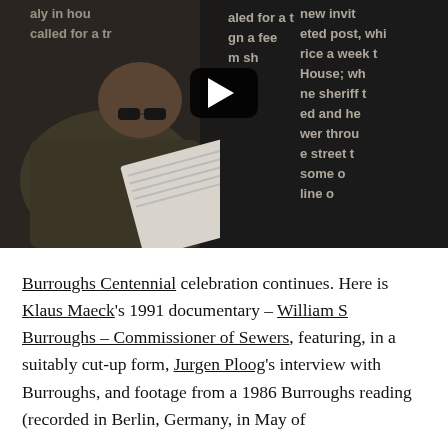[Figure (screenshot): Video thumbnail showing an elderly man with glasses reading from papers, with text visible in the background. A play button overlay is visible in the upper-center of the image.]
Burroughs Centennial celebration continues. Here is Klaus Maeck's 1991 documentary – William S Burroughs – Commissioner of Sewers, featuring, in a suitably cut-up form, Jurgen Ploog's interview with Burroughs, and footage from a 1986 Burroughs reading (recorded in Berlin, Germany, in May of